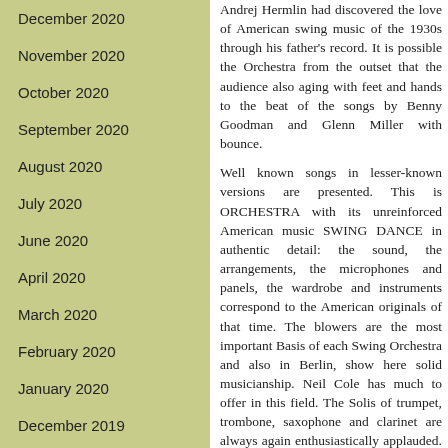December 2020
November 2020
October 2020
September 2020
August 2020
July 2020
June 2020
April 2020
March 2020
February 2020
January 2020
December 2019
November 2019
Andrej Hermlin had discovered the love of American swing music of the 1930s through his father's record. It is possible the Orchestra from the outset that the audience also aging with feet and hands to the beat of the songs by Benny Goodman and Glenn Miller with bounce.

Well known songs in lesser-known versions are presented. This is ORCHESTRA with its unreinforced American music SWING DANCE in authentic detail: the sound, the arrangements, the microphones and panels, the wardrobe and instruments correspond to the American originals of that time. The blowers are the most important Basis of each Swing Orchestra and also in Berlin, show here solid musicianship. Neil Cole has much to offer in this field. The Solis of trumpet, trombone, saxophone and clarinet are always again enthusiastically applauded. The guitar player alive swings with his Gretsch guitar, saxophonist Finn Wiesner attacks for his vocals to the historic microphone, bassist powerfully struck the strings of his bass and lively